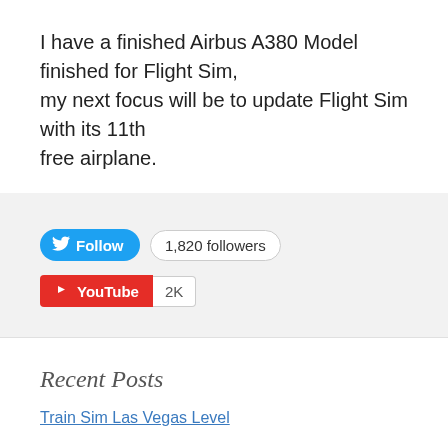I have a finished Airbus A380 Model finished for Flight Sim, my next focus will be to update Flight Sim with its 11th free airplane.
[Figure (infographic): Twitter Follow button (blue, rounded) with bird logo and 'Follow' text, next to a '1,820 followers' badge with rounded border. Below, a YouTube subscribe button (red) with play icon logo and 'YouTube' text, next to a '2K' count badge.]
Recent Posts
Train Sim Las Vegas Level